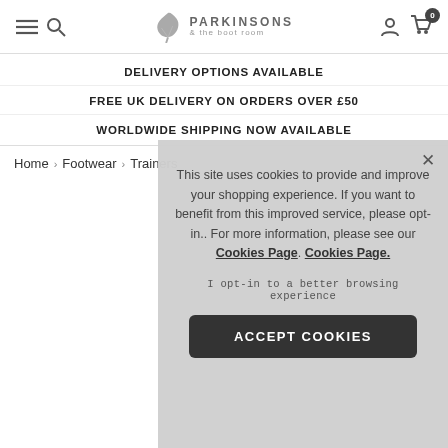Parkinsons & the boot room — navigation header with menu, search, account, and cart icons
DELIVERY OPTIONS AVAILABLE
FREE UK DELIVERY ON ORDERS OVER £50
WORLDWIDE SHIPPING NOW AVAILABLE
Home › Footwear › Trainers
This site uses cookies to provide and improve your shopping experience. If you want to benefit from this improved service, please opt-in.. For more information, please see our Cookies Page. Cookies Page.

I opt-in to a better browsing experience

ACCEPT COOKIES